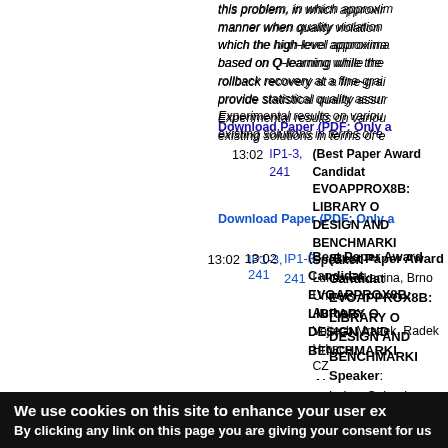this problem, in which approxi... manner when quality violation... which the high-level approxima... based on Q-learning while the... rollback recovery at a fine-grai... provide statistical quality assur... Experimental results on variou... existing solutions in terms of e...
Download Paper (PDF; Only a
13:02
IP1-3, 241
(Best Paper Award Candidat... EVOAPPROX8B: LIBRARY O... DESIGN AND BENCHMARKI...
Speaker: Lukas Sekanina, Brno Univers...
Authors: Vojtech Mrazek, Radek Hrbace... CZ
Abstract
Approximate circuits and appr... researchers as well as industry... system design process and to... propose a library of approxima... non-dominated 8-bit approxima...
We use cookies on this site to enhance your user ex...
By clicking any link on this page you are giving your consent for us to...